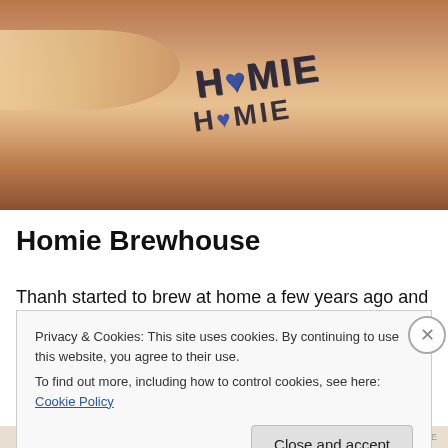[Figure (photo): Close-up photo of a person's wrist/forearm with a tattoo reading 'HOMIE' in bold stylized letters, skin tones of warm brown/tan]
Homie Brewhouse
Thanh started to brew at home a few years ago and in October 2016 he opened Homie Brewhouse together with his wife. There has been many late nights and early
Privacy & Cookies: This site uses cookies. By continuing to use this website, you agree to their use.
To find out more, including how to control cookies, see here: Cookie Policy
Close and accept